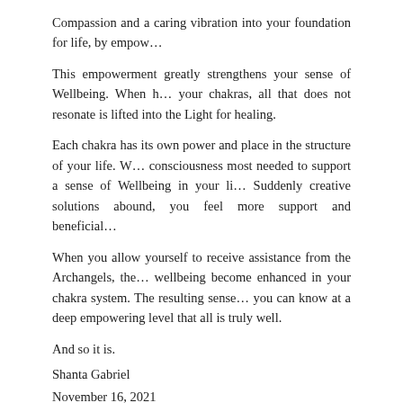Compassion and a caring vibration into your foundation for life, by empow…
This empowerment greatly strengthens your sense of Wellbeing. When h… your chakras, all that does not resonate is lifted into the Light for healing.
Each chakra has its own power and place in the structure of your life. W… consciousness most needed to support a sense of Wellbeing in your li… Suddenly creative solutions abound, you feel more support and beneficial…
When you allow yourself to receive assistance from the Archangels, the… wellbeing become enhanced in your chakra system. The resulting sense… you can know at a deep empowering level that all is truly well.
And so it is.
Shanta Gabriel
November 16, 2021
Credit